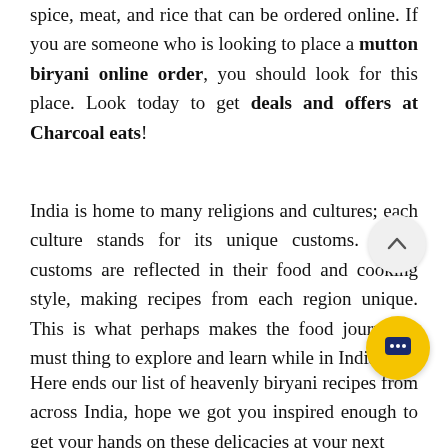spice, meat, and rice that can be ordered online. If you are someone who is looking to place a mutton biryani online order, you should look for this place. Look today to get deals and offers at Charcoal eats!
India is home to many religions and cultures; each culture stands for its unique customs. These customs are reflected in their food and cooking style, making recipes from each region unique. This is what perhaps makes the food journey a must thing to explore and learn while in India!
Here ends our list of heavenly biryani recipes from across India, hope we got you inspired enough to get your hands on these delicacies at your next door...